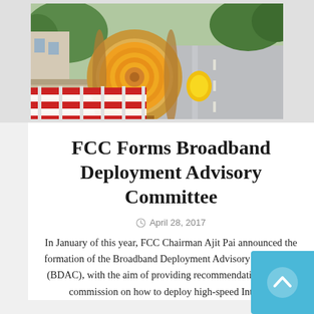[Figure (photo): A large spool of yellow cable/fiber optic cable on a wooden reel, sitting near a construction barrier with red and white stripes, on a European-style road with trees and buildings in the background.]
FCC Forms Broadband Deployment Advisory Committee
April 28, 2017
In January of this year, FCC Chairman Ajit Pai announced the formation of the Broadband Deployment Advisory Committee (BDAC), with the aim of providing recommendations for the commission on how to deploy high-speed Internet